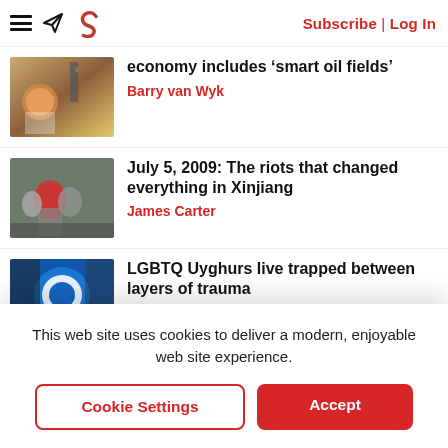Subscribe | Log In
economy includes ‘smart oil fields’
Barry van Wyk
July 5, 2009: The riots that changed everything in Xinjiang
James Carter
LGBTQ Uyghurs live trapped between layers of trauma
This web site uses cookies to deliver a modern, enjoyable web site experience.